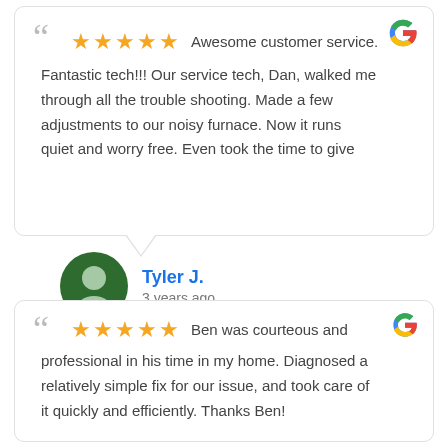[Figure (screenshot): Google review card with 5 stars. Quote: 'Awesome customer service. Fantastic tech!!! Our service tech, Dan, walked me through all the trouble shooting. Made a few adjustments to our noisy furnace. Now it runs quiet and worry free. Even took the time to give']
Tyler J. — 3 years ago
[Figure (screenshot): Google review card with 5 stars. Quote: 'Ben was courteous and professional in his time in my home. Diagnosed a relatively simple fix for our issue, and took care of it quickly and efficiently. Thanks Ben!']